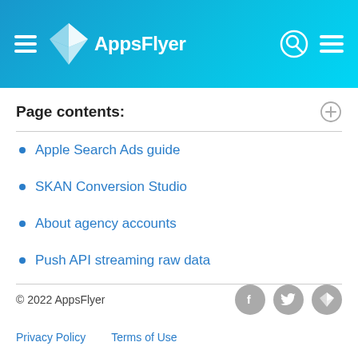AppsFlyer navigation header with logo, search, and menu icons
Page contents:
Apple Search Ads guide
SKAN Conversion Studio
About agency accounts
Push API streaming raw data
© 2022 AppsFlyer  Privacy Policy  Terms of Use